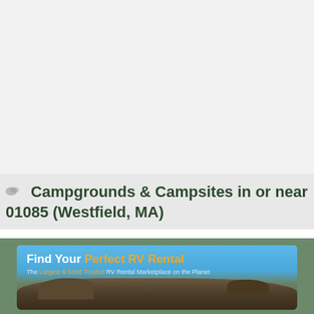Campgrounds & Campsites in or near 01085 (Westfield, MA)
[Figure (illustration): Advertisement banner for RV rental service showing text 'Find Your Perfect RV Rental' with 'The Largest & Most Trusted RV Rental Marketplace on the Planet' subtitle, set against a sky and rock landscape background.]